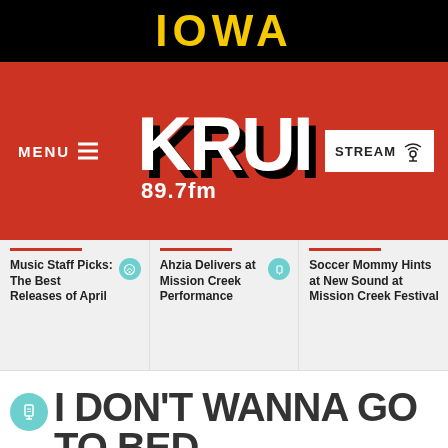IOWA
[Figure (logo): KRUI 89.7fm radio station logo on red background with MENU and STREAM buttons]
Music Staff Picks: The Best Releases of April
Ahzia Delivers at Mission Creek Performance
Soccer Mommy Hints at New Sound at Mission Creek Festival
I DON'T WANNA GO TO BED